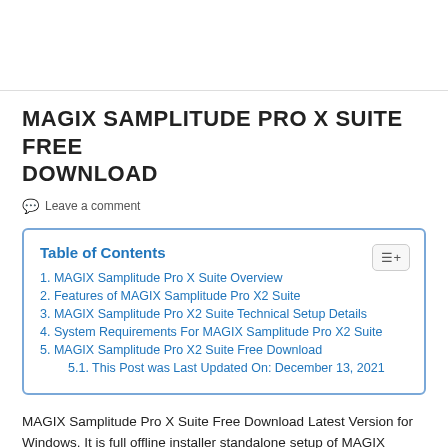MAGIX SAMPLITUDE PRO X SUITE FREE DOWNLOAD
Leave a comment
| Table of Contents |
| --- |
| 1. MAGIX Samplitude Pro X Suite Overview |
| 2. Features of MAGIX Samplitude Pro X2 Suite |
| 3. MAGIX Samplitude Pro X2 Suite Technical Setup Details |
| 4. System Requirements For MAGIX Samplitude Pro X2 Suite |
| 5. MAGIX Samplitude Pro X2 Suite Free Download |
| 5.1. This Post was Last Updated On: December 13, 2021 |
MAGIX Samplitude Pro X Suite Free Download Latest Version for Windows. It is full offline installer standalone setup of MAGIX Samplitude Pro X Suite.